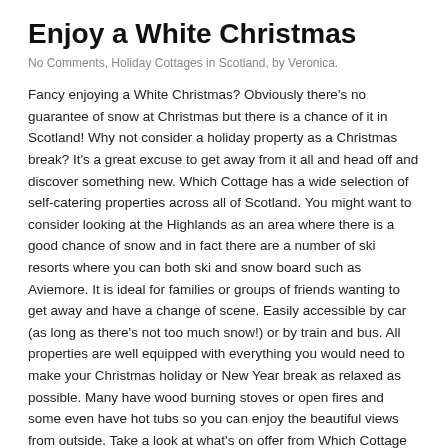Enjoy a White Christmas
No Comments, Holiday Cottages in Scotland, by Veronica.
Fancy enjoying a White Christmas? Obviously there's no guarantee of snow at Christmas but there is a chance of it in Scotland! Why not consider a holiday property as a Christmas break? It's a great excuse to get away from it all and head off and discover something new. Which Cottage has a wide selection of self-catering properties across all of Scotland. You might want to consider looking at the Highlands as an area where there is a good chance of snow and in fact there are a number of ski resorts where you can both ski and snow board such as Aviemore. It is ideal for families or groups of friends wanting to get away and have a change of scene. Easily accessible by car (as long as there's not too much snow!) or by train and bus. All properties are well equipped with everything you would need to make your Christmas holiday or New Year break as relaxed as possible. Many have wood burning stoves or open fires and some even have hot tubs so you can enjoy the beautiful views from outside. Take a look at what's on offer from Which Cottage and equally from their Late Availability site where you will find discounted offers for the Christmas and New Year break. Merry Christmas and a